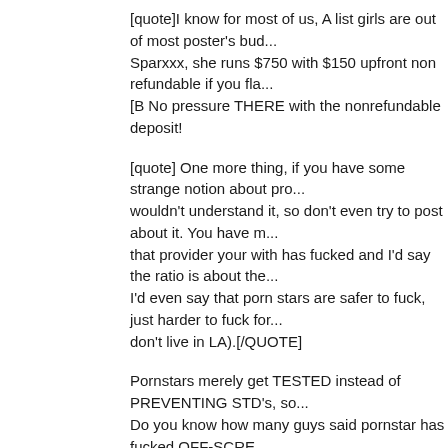[quote]I know for most of us, A list girls are out of most poster's bud... Sparxxx, she runs $750 with $150 upfront non refundable if you fla... [B No pressure THERE with the nonrefundable deposit!
[quote] One more thing, if you have some strange notion about pro... wouldn't understand it, so don't even try to post about it. You have m... that provider your with has fucked and I'd say the ratio is about the... I'd even say that porn stars are safer to fuck, just harder to fuck for... don't live in LA).[/QUOTE]
Pornstars merely get TESTED instead of PREVENTING STD's, so... Do you know how many guys said pornstar has fucked OFF-SCRE...
DJ4M, that pipe ain't good for you, man... PLEASE quit it
DJ FourMoney
[QUOTE=George90]DJ, I don't know where to start. But you are so...
You wrote a rambling post a while back, and now another rambling... run after stars instead of non-stars. Why? Because you are lonely?
Most hot women, not just porn stars, have trouble finding stability in... Have you ever thought seriously about why that is so. The reasons... this thread. It not because the vrey large number of men who run...